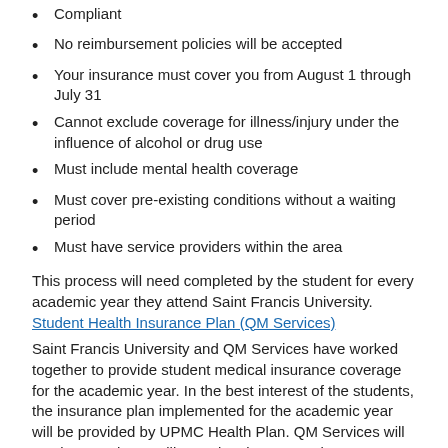Compliant
No reimbursement policies will be accepted
Your insurance must cover you from August 1 through July 31
Cannot exclude coverage for illness/injury under the influence of alcohol or drug use
Must include mental health coverage
Must cover pre-existing conditions without a waiting period
Must have service providers within the area
This process will need completed by the student for every academic year they attend Saint Francis University.
Student Health Insurance Plan (QM Services)
Saint Francis University and QM Services have worked together to provide student medical insurance coverage for the academic year. In the best interest of the students, the insurance plan implemented for the academic year will be provided by UPMC Health Plan. QM Services will continue as the satellite student insurance department to provide oversight, advocacy, management and consultation. If you have any questions regarding the benefit process, or in need